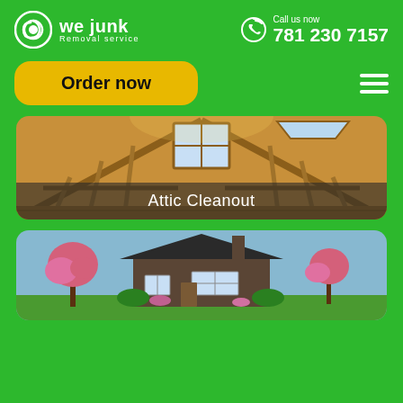[Figure (logo): We Junk Removal Service logo - spiral icon with brand name]
Call us now
781 230 7157
Order now
[Figure (photo): Interior of a wooden attic with framing, rafters, and skylights]
Attic Cleanout
[Figure (photo): Exterior of a residential house with flowering cherry trees and landscaping]